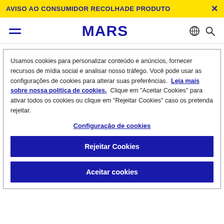AVISO AO CONSUMIDOR RECOLHADE PRODUTO ×
MARS
Usamos cookies para personalizar conteúdo e anúncios, fornecer recursos de mídia social e analisar nosso tráfego. Você pode usar as configurações de cookies para alterar suas preferências. Leia mais sobre nossa política de cookies. Clique em "Aceitar Cookies" para ativar todos os cookies ou clique em "Rejeitar Cookies" caso os pretenda rejeitar.
Configuração de cookies
Rejeitar Cookies
Aceitar cookies